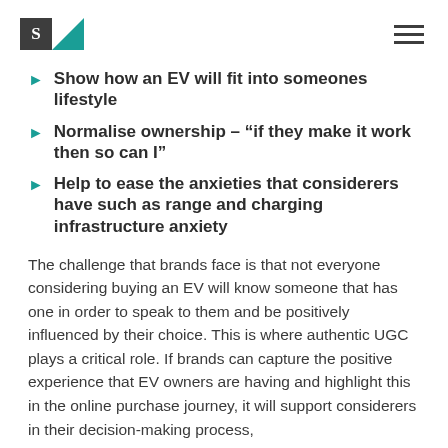S [logo] [hamburger menu]
Show how an EV will fit into someones lifestyle
Normalise ownership – "if they make it work then so can I"
Help to ease the anxieties that considerers have such as range and charging infrastructure anxiety
The challenge that brands face is that not everyone considering buying an EV will know someone that has one in order to speak to them and be positively influenced by their choice. This is where authentic UGC plays a critical role. If brands can capture the positive experience that EV owners are having and highlight this in the online purchase journey, it will support considerers in their decision-making process,